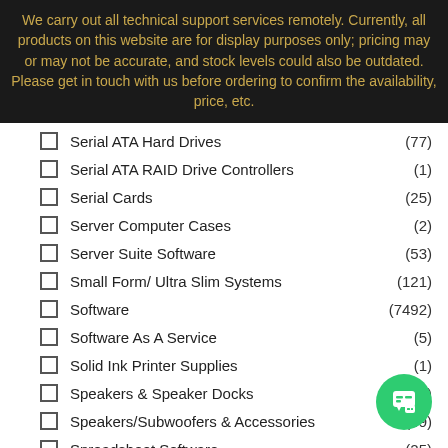We carry out all technical support services remotely. Currently, all products on this website are for display purposes only; pricing may or may not be accurate, and stock levels could also be outdated. Please get in touch with us before ordering to confirm the availability, price, etc.
Serial ATA Hard Drives (77)
Serial ATA RAID Drive Controllers (1)
Serial Cards (25)
Server Computer Cases (2)
Server Suite Software (53)
Small Form/ Ultra Slim Systems (121)
Software (7492)
Software As A Service (5)
Solid Ink Printer Supplies (1)
Speakers & Speaker Docks (7)
Speakers/Subwoofers & Accessories (49)
Spreadsheet Software (25)
Stackable Switches
Standalone POS Terminals
Standalone Switches (30)